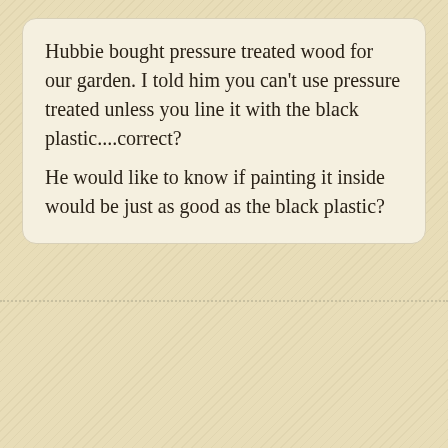Hubbie bought pressure treated wood for our garden. I told him you can't use pressure treated unless you line it with the black plastic....correct? He would like to know if painting it inside would be just as good as the black plastic?